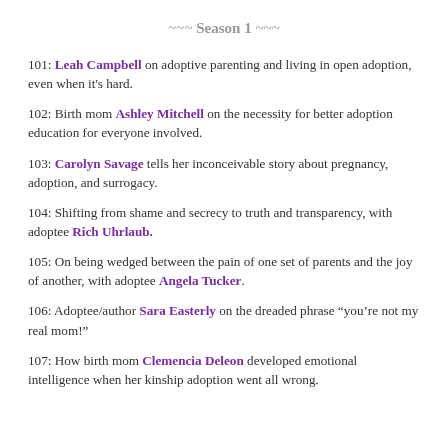~~~ Season 1 ~~~
101: Leah Campbell on adoptive parenting and living in open adoption, even when it's hard.
102: Birth mom Ashley Mitchell on the necessity for better adoption education for everyone involved.
103: Carolyn Savage tells her inconceivable story about pregnancy, adoption, and surrogacy.
104: Shifting from shame and secrecy to truth and transparency, with adoptee Rich Uhrlaub.
105: On being wedged between the pain of one set of parents and the joy of another, with adoptee Angela Tucker.
106: Adoptee/author Sara Easterly on the dreaded phrase “you’re not my real mom!”
107: How birth mom Clemencia Deleon developed emotional intelligence when her kinship adoption went all wrong.